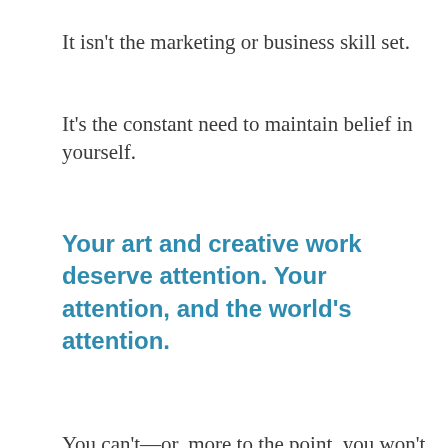It isn't the marketing or business skill set.
It's the constant need to maintain belief in yourself.
Your art and creative work deserve attention. Your attention, and the world's attention.
You can't—or, more to the point, you won't—
Finish the work & get it seen: ×
We use cookies to ensure that we give you the best experience on our website. If you continue to use this site, we will assume you are comfortable with our terms
OK  Privacy Policy